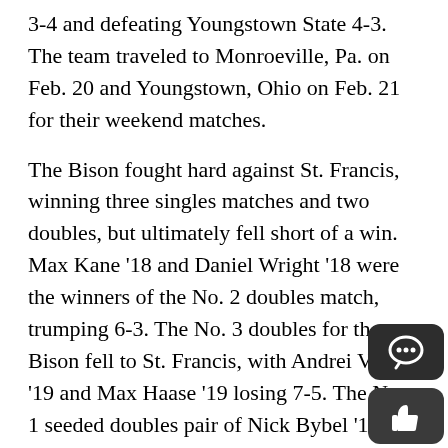3-4 and defeating Youngstown State 4-3. The team traveled to Monroeville, Pa. on Feb. 20 and Youngstown, Ohio on Feb. 21 for their weekend matches.
The Bison fought hard against St. Francis, winning three singles matches and two doubles, but ultimately fell short of a win. Max Kane ’18 and Daniel Wright ’18 were the winners of the No. 2 doubles match, trumping 6-3. The No. 3 doubles for the Bison fell to St. Francis, with Andrei Vitiuc ’19 and Max Haase ’19 losing 7-5. The No. 1 seeded doubles pair of Nick Bybel ’16 and Bryan Adams ’17 were also defeated 6-4 by their opponents. No. 1 seeded Bybel had his revenge upon his challenger in their singles match, beating him 6-3, 6-4. No. 4 Adams also trounced his opponent, defeating him 5-7, 6-4, 6-1. No. 2 Kane was defeated by his opponent 6-4, 6-2. The Bison’s No. 5 and No. 6 seeds, Vitiuc and Timber Erskine ’18, also lost their matches. Wright finished the Bison’s singles with a No. 3 seed and a win, defeating his